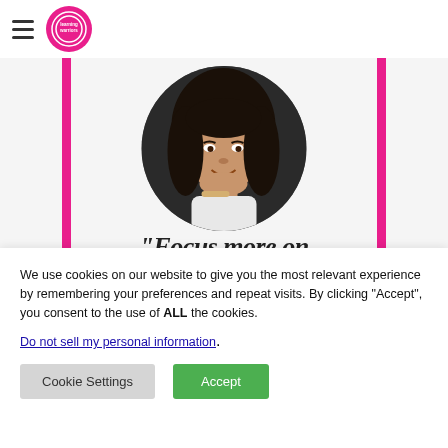Navigation header with hamburger menu and pink circular logo badge
[Figure (photo): Circular profile photo of a young woman smiling, with long dark hair, resting her chin on her hand, wearing a white top and bracelet, against a dark background. Below the photo is partial bold italic text reading “Focus more on”]
We use cookies on our website to give you the most relevant experience by remembering your preferences and repeat visits. By clicking “Accept”, you consent to the use of ALL the cookies.
Do not sell my personal information.
Cookie Settings   Accept